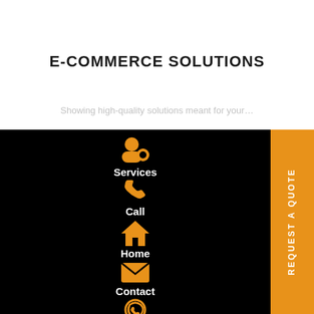[Figure (logo): Partial circular logo icon in orange at the top center]
E-COMMERCE SOLUTIONS
[Figure (infographic): Navigation menu on black background with orange icons and white labels: Services (person with gear icon), Call (phone icon), Home (house icon), Contact (envelope icon), WhatsApp (WhatsApp icon). Orange 'REQUEST A QUOTE' vertical tab on the right side.]